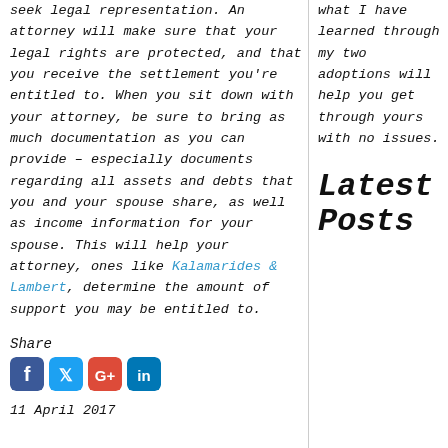seek legal representation. An attorney will make sure that your legal rights are protected, and that you receive the settlement you're entitled to. When you sit down with your attorney, be sure to bring as much documentation as you can provide – especially documents regarding all assets and debts that you and your spouse share, as well as income information for your spouse. This will help your attorney, ones like Kalamarides & Lambert, determine the amount of support you may be entitled to.
Share
[Figure (other): Social media sharing icons: Facebook, Twitter, Google+, LinkedIn]
11 April 2017
what I have learned through my two adoptions will help you get through yours with no issues.
Latest Posts